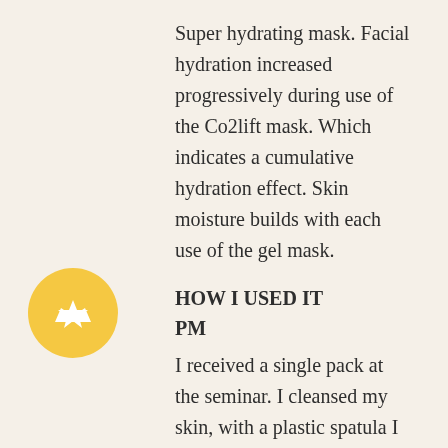Super hydrating mask. Facial hydration increased progressively during use of the Co2lift mask. Which indicates a cumulative hydration effect. Skin moisture builds with each use of the gel mask.
HOW I USED IT
PM
I received a single pack at the seminar. I cleansed my skin, with a plastic spatula I applied the gel mask on my skin. Starting from my eye area, then my laugh lines and every where else.
I left it on for 45 minutes. Using the spatula, I
[Figure (illustration): Yellow circular badge with a white crown icon in the center]